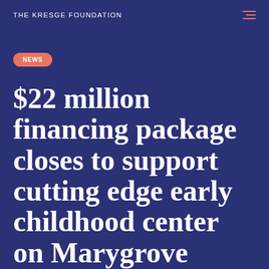THE KRESGE FOUNDATION
NEWS
$22 million financing package closes to support cutting edge early childhood center on Marygrove campus